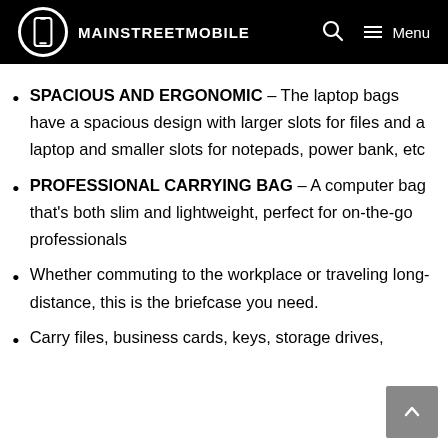MAINSTREETMOBILE
SPACIOUS AND ERGONOMIC – The laptop bags have a spacious design with larger slots for files and a laptop and smaller slots for notepads, power bank, etc
PROFESSIONAL CARRYING BAG – A computer bag that's both slim and lightweight, perfect for on-the-go professionals
Whether commuting to the workplace or traveling long-distance, this is the briefcase you need.
Carry files, business cards, keys, storage drives,